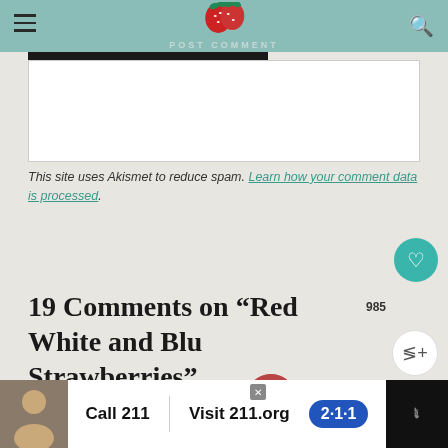POST COMMENT
This site uses Akismet to reduce spam. Learn how your comment data is processed.
19 Comments on “Red White and Blu Strawberries”
WHAT'S NEXT → Red Velvet Thumbprints
SARAH — MARCH 10, 2021 @ 11:20 PM REPLY